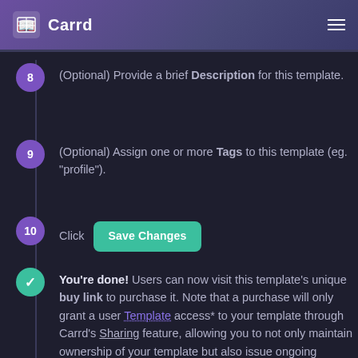Carrd
(Optional) Provide a brief Description for this template.
(Optional) Assign one or more Tags to this template (eg. "profile").
Click Save Changes
You're done! Users can now visit this template's unique buy link to purchase it. Note that a purchase will only grant a user Template access* to your template through Carrd's Sharing feature, allowing you to not only maintain ownership of your template but also issue ongoing updates and fixes to everyone